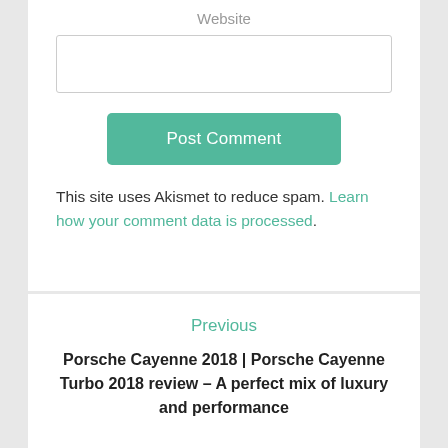Website
Post Comment
This site uses Akismet to reduce spam. Learn how your comment data is processed.
Previous
Porsche Cayenne 2018 | Porsche Cayenne Turbo 2018 review – A perfect mix of luxury and performance